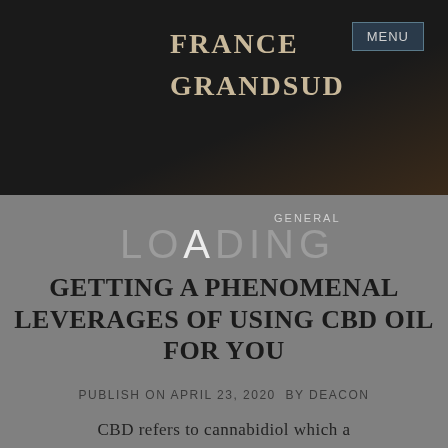FRANCE GRANDSUD
GENERAL
GETTING A PHENOMENAL LEVERAGES OF USING CBD OIL FOR YOU
PUBLISH ON APRIL 23, 2020  BY DEACON
CBD refers to cannabidiol which a